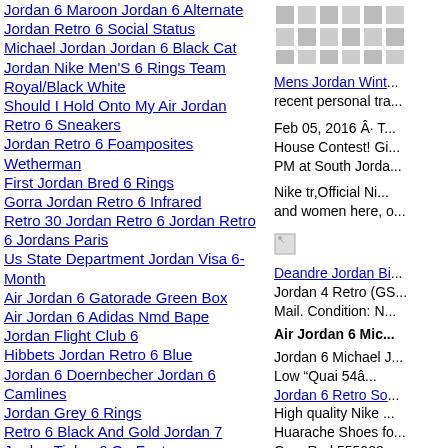Jordan 6 Maroon Jordan 6 Alternate
Jordan Retro 6 Social Status
Michael Jordan Jordan 6 Black Cat
Jordan Nike Men'S 6 Rings Team Royal/Black White
Should I Hold Onto My Air Jordan Retro 6 Sneakers
Jordan Retro 6 Foamposites Wetherman
First Jordan Bred 6 Rings
Gorra Jordan Retro 6 Infrared
Retro 30 Jordan Retro 6 Jordan Retro 6 Jordans Paris
Us State Department Jordan Visa 6-Month
Air Jordan 6 Gatorade Green Box
Air Jordan 6 Adidas Nmd Bape
Jordan Flight Club 6
Hibbets Jordan Retro 6 Blue
Jordan 6 Doernbecher Jordan 6 Camlines
Jordan Grey 6 Rings
Retro 6 Black And Gold Jordan 7
Jordan Tinker 6 On Feet
Jordan 6 Brown Suede
[Figure (other): Checkerboard pattern image placeholder in right column]
Mens Jordan Wint... recent personal tra...
Feb 05, 2016 Â· T... House Contest! Gi... PM at South Jorda...
Nike tr,Official Ni... and women here, o...
[Figure (other): Small broken image icon]
Deandre Jordan Bi... Jordan 4 Retro (GS... Mail. Condition: N...
Air Jordan 6 Mic...
Jordan 6 Michael J... Low “Quai 54â... Jordan 6 Retro So... High quality Nike ... Huarache Shoes fo... Gym Red 555088...